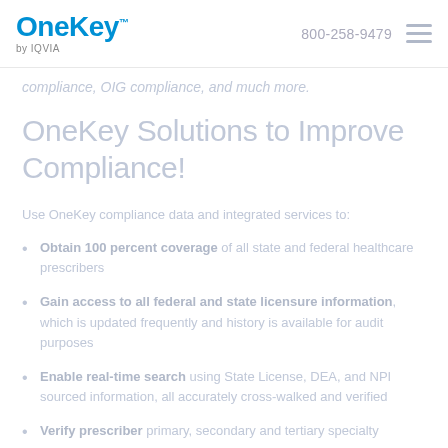OneKey by IQVIA | 800-258-9479
compliance, OIG compliance, and much more.
OneKey Solutions to Improve Compliance!
Use OneKey compliance data and integrated services to:
Obtain 100 percent coverage of all state and federal healthcare prescribers
Gain access to all federal and state licensure information, which is updated frequently and history is available for audit purposes
Enable real-time search using State License, DEA, and NPI sourced information, all accurately cross-walked and verified
Verify prescriber primary, secondary and tertiary specialty